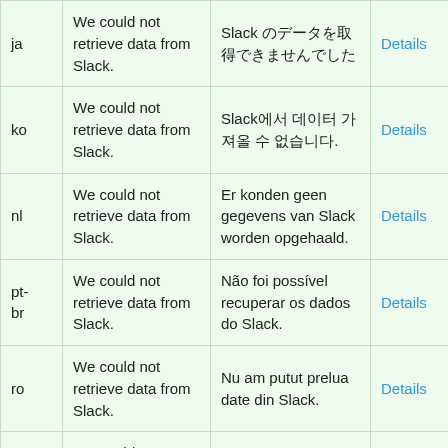| ja | We could not retrieve data from Slack. | Slack のデータを取得できませんでした | Details |
| ko | We could not retrieve data from Slack. | Slack에서 데이터 가져올 수 없습니다. | Details |
| nl | We could not retrieve data from Slack. | Er konden geen gegevens van Slack worden opgehaald. | Details |
| pt-br | We could not retrieve data from Slack. | Não foi possível recuperar os dados do Slack. | Details |
| ro | We could not retrieve data from Slack. | Nu am putut prelua date din Slack. | Details |
| ru | We could not retrieve data from Slack. | Не удалось получить данные из Slack. | Details |